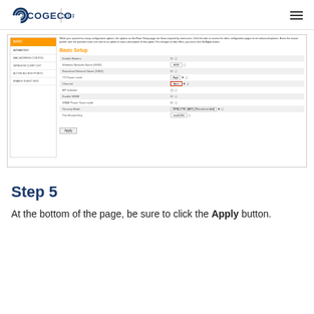COGECO SUPPORT
[Figure (screenshot): Screenshot of a router Basic Setup configuration page showing fields: Enable Modem, Wireless Network Name (SSID), Broadcast Network Name (SSID), TX Power Level (High), Channel (highlighted with red box showing 'Auto'), AP Isolation, Enable WMM, WMM Power Save mode, Security Mode (WPA2-PSK (AES) Recommended), Pre-Shared Key (test1234), and an Apply button.]
Step 5
At the bottom of the page, be sure to click the Apply button.